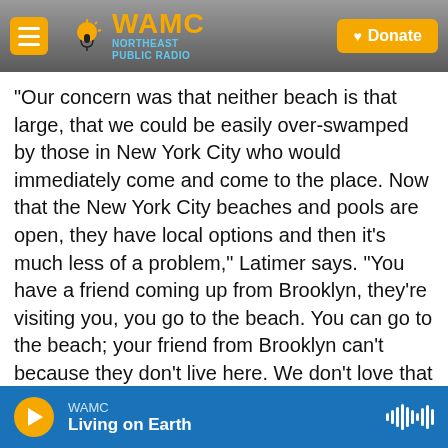WAMC Northeast Public Radio — Donate
“Our concern was that neither beach is that large, that we could be easily over-swamped by those in New York City who would immediately come and come to the place. Now that the New York City beaches and pools are open, they have local options and then it’s much less of a problem,” Latimer says. “You have a friend coming up from Brooklyn, they’re visiting you, you go to the beach. You can go to the beach; your friend from Brooklyn can’t because they don’t live here. We don’t love that situation, but we did have to protect Westchester residents during the period of time when New York City wasn’t open. Now that New
WAMC — Living on Earth